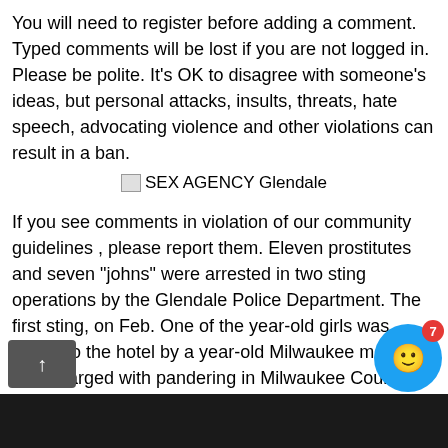You will need to register before adding a comment. Typed comments will be lost if you are not logged in. Please be polite. It's OK to disagree with someone's ideas, but personal attacks, insults, threats, hate speech, advocating violence and other violations can result in a ban.
[Figure (other): Broken image placeholder with text 'SEX AGENCY Glendale']
If you see comments in violation of our community guidelines , please report them. Eleven prostitutes and seven "johns" were arrested in two sting operations by the Glendale Police Department. The first sting, on Feb. One of the year-old girls was driven to the hotel by a year-old Milwaukee man. He was charged with pandering in Milwaukee County Circuit Court.
The three men who were ticketed for escorting without a license are a year-old Milwaukee man and two year-old Milwaukee men. One of the year-old men advertised himself as a woman and arrived at the hotel dressed as a woman. Glendale Police Capt.
[Figure (photo): Dark photo strip at the bottom of the page]